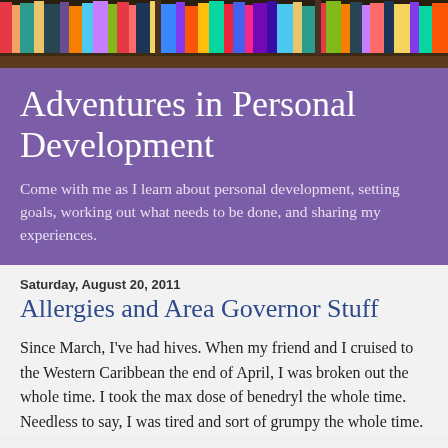[Figure (photo): Bookshelf banner image showing colorful books arranged on wooden shelves]
Adventures in Personal Development
Come with me as I learn about personal development, setting goals, working out what needs to be done, and sharing my experiences.
Saturday, August 20, 2011
Allergies and Area Governor Stuff
Since March, I've had hives. When my friend and I cruised to the Western Caribbean the end of April, I was broken out the whole time. I took the max dose of benedryl the whole time. Needless to say, I was tired and sort of grumpy the whole time.